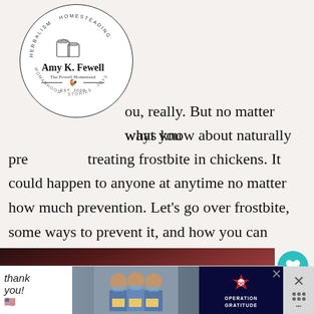[Figure (logo): Circular logo with text 'HERBALISM · HOMESTEADING' around the top arc, illustration of mason jars and a chicken, text 'Amy K. Fewell' in bold, 'The Fewell Homestead' below, an arrow-and-chicken divider, 'EST. 2008' and 'WOMANHOOD · STORIES · JOYS' around the bottom arc.]
ou, really. But no matter what you always know about naturally preventing and treating frostbite in chickens. It could happen to anyone at anytime no matter how much prevention. Let's go over frostbite, some ways to prevent it, and how you can easily treat it by keeping a simple salve on hand.
[Figure (photo): Dark reddish-brown photo of chickens, likely showing frostbitten combs or chickens in winter setting. A reddish chicken comb/wattle is visible on the right side.]
[Figure (other): Advertisement banner for Operation Gratitude featuring a 'Thank you!' handwritten style text with American flag, photo of nurses/medical workers holding boxes, Operation Gratitude logo on dark background.]